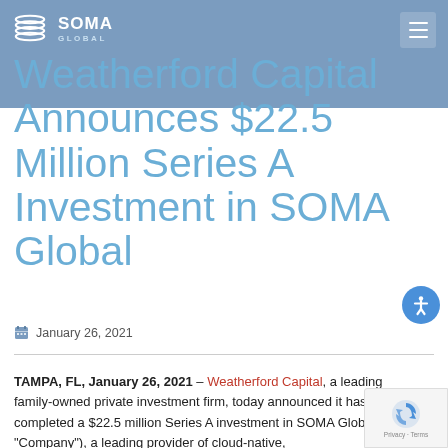SOMA GLOBAL
Weatherford Capital Announces $22.5 Million Series A Investment in SOMA Global
January 26, 2021
TAMPA, FL, January 26, 2021 – Weatherford Capital, a leading family-owned private investment firm, today announced it has completed a $22.5 million Series A investment in SOMA Global (the "Company"), a leading provider of cloud-native,